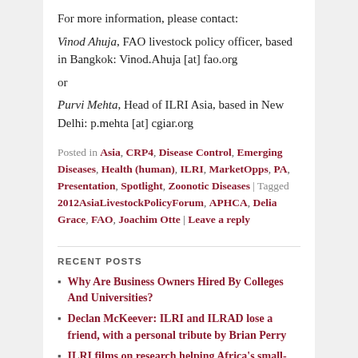For more information, please contact:
Vinod Ahuja, FAO livestock policy officer, based in Bangkok: Vinod.Ahuja [at] fao.org
or
Purvi Mehta, Head of ILRI Asia, based in New Delhi: p.mehta [at] cgiar.org
Posted in Asia, CRP4, Disease Control, Emerging Diseases, Health (human), ILRI, MarketOpps, PA, Presentation, Spotlight, Zoonotic Diseases | Tagged 2012AsiaLivestockPolicyForum, APHCA, Delia Grace, FAO, Joachim Otte | Leave a reply
RECENT POSTS
Why Are Business Owners Hired By Colleges And Universities?
Declan McKeever: ILRI and ILRAD lose a friend, with a personal tribute by Brian Perry
ILRI films on research helping Africa's small-scale livestock keepers better adapt to changing climates
Storming the ivory towers: Time for scientists to get